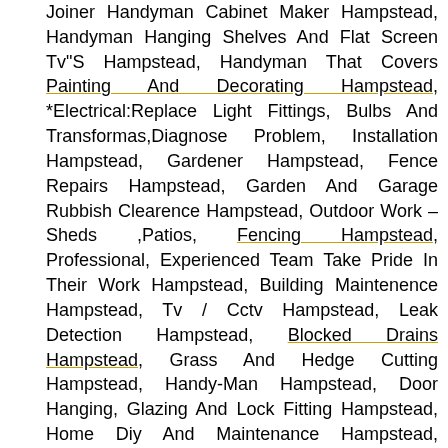Joiner Handyman Cabinet Maker Hampstead, Handyman Hanging Shelves And Flat Screen Tv"S Hampstead, Handyman That Covers Painting And Decorating Hampstead, *Electrical:Replace Light Fittings, Bulbs And Transformas,Diagnose Problem, Installation Hampstead, Gardener Hampstead, Fence Repairs Hampstead, Garden And Garage Rubbish Clearence Hampstead, Outdoor Work – Sheds ,Patios, Fencing Hampstead, Professional, Experienced Team Take Pride In Their Work Hampstead, Building Maintenence Hampstead, Tv / Cctv Hampstead, Leak Detection Hampstead, Blocked Drains Hampstead, Grass And Hedge Cutting Hampstead, Handy-Man Hampstead, Door Hanging, Glazing And Lock Fitting Hampstead, Home Diy And Maintenance Hampstead, Property Maintenance Hampstead, Experienced Handyman Service Hampstead, Fence Erecting / Repair Hampstead, Carpentry And Joinery Hampstead, Bathrooms Hampstead, Plumbing&Electrical Hampstead, Painters Hampstead, And so much more. There Hampstead and